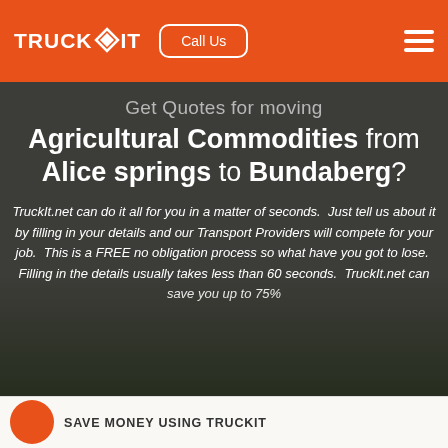TRUCKIT  Call Us
Get Quotes for moving Agricultural Commodities from Alice springs to Bundaberg?
TruckIt.net can do it all for you in a matter of seconds.  Just tell us about it by filling in your details and our Transport Providers will compete for your job.  This is a FREE no obligation process so what have you got to lose.  Filling in the details usually takes less than 60 seconds.  TruckIt.net can save you up to 75%
SAVE MONEY USING TRUCKIT